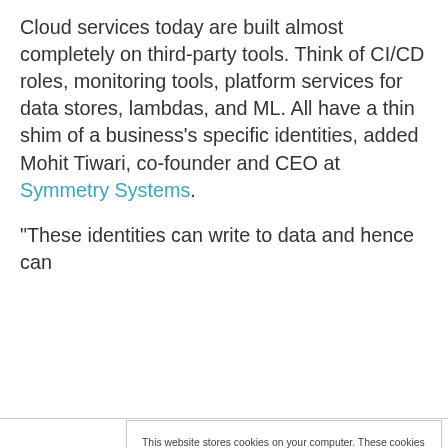Cloud services today are built almost completely on third-party tools. Think of CI/CD roles, monitoring tools, platform services for data stores, lambdas, and ML. All have a thin shim of a business's specific identities, added Mohit Tiwari, co-founder and CEO at Symmetry Systems.
“These identities can write to data and hence can
This website stores cookies on your computer. These cookies are used to collect information about how you interact with our website and allow us to remember you. We use this information in order to improve and customize your browsing experience and for analytics and metrics about our visitors both on this website and other media. To find out more about the cookies we use, see our Privacy Policy. California residents have the right to direct us not to sell their personal information to third parties by filing an Opt-Out Request: Do Not Sell My Personal Info.
Accept